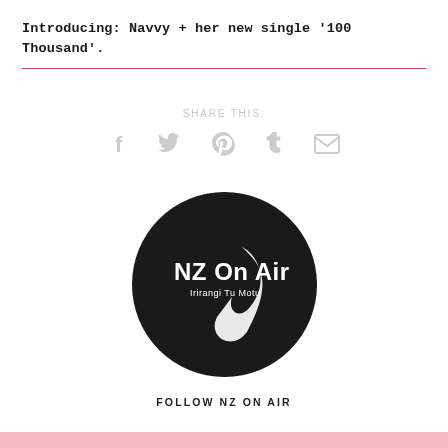Introducing: Navvy + her new single '100 Thousand'.
SHARE THIS:
[Figure (illustration): Social media sharing icons: Facebook (f), Twitter (bird), Pinterest (p), Tumblr (t), Email (envelope) — all in light grey]
[Figure (logo): NZ On Air logo — white text and checkmark on black circular background, with text 'NZ On Air' and 'Irirangi Tu Motu']
FOLLOW NZ ON AIR